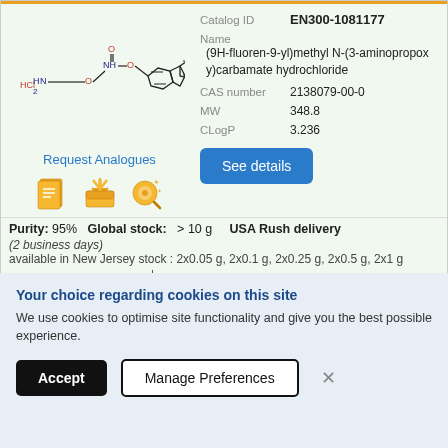[Figure (illustration): Chemical structure of (9H-fluoren-9-yl)methyl N-(3-aminopropoxy)carbamate hydrochloride showing fluorene ring system connected via carbamate linkage to an aminopropoxy chain with HCl salt]
Request Analogues
| Field | Value |
| --- | --- |
| Catalog ID | EN300-1081177 |
| Name | (9H-fluoren-9-yl)methyl N-(3-aminopropoxy)carbamate hydrochloride |
| CAS number | 2138079-00-0 |
| MW | 348.8 |
| CLogP | 3.236 |
Purity: 95%   Global stock:   > 10 g   USA Rush delivery
(2 business days)
available in New Jersey stock : 2x0.05 g, 2x0.1 g, 2x0.25 g, 2x0.5 g, 2x1 g
1.0 g  ↓  1027$
In Stock
Your choice regarding cookies on this site
We use cookies to optimise site functionality and give you the best possible experience.